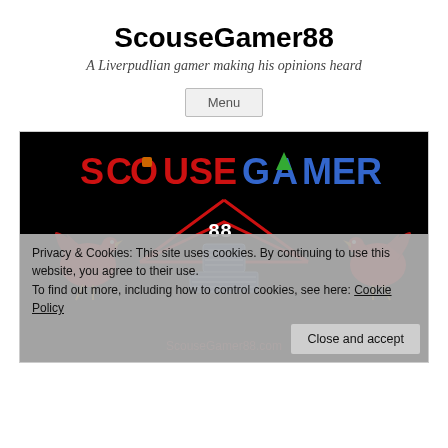ScouseGamer88
A Liverpudlian gamer making his opinions heard
Menu
[Figure (illustration): Scouse Gamer logo banner: black background with large red text 'SCOUSE GAMER' at top, two red liver birds flanking a central diamond/shield shape containing '88' above a stylized blue robot/speaker figure, with 'ScouseGamer88.com' at the bottom]
Privacy & Cookies: This site uses cookies. By continuing to use this website, you agree to their use.
To find out more, including how to control cookies, see here: Cookie Policy
Close and accept